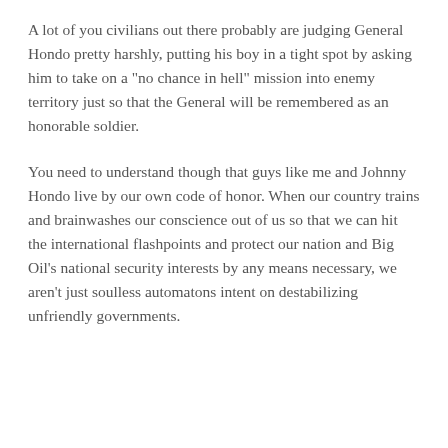A lot of you civilians out there probably are judging General Hondo pretty harshly, putting his boy in a tight spot by asking him to take on a "no chance in hell" mission into enemy territory just so that the General will be remembered as an honorable soldier.
You need to understand though that guys like me and Johnny Hondo live by our own code of honor. When our country trains and brainwashes our conscience out of us so that we can hit the international flashpoints and protect our nation and Big Oil's national security interests by any means necessary, we aren't just soulless automatons intent on destabilizing unfriendly governments.